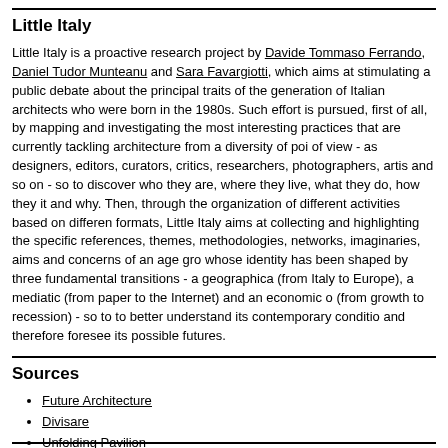Little Italy
Little Italy is a proactive research project by Davide Tommaso Ferrando, Daniel Tudor Munteanu and Sara Favargiotti, which aims at stimulating a public debate about the principal traits of the generation of Italian architects who were born in the 1980s. Such effort is pursued, first of all, by mapping and investigating the most interesting practices that are currently tackling architecture from a diversity of points of view - as designers, editors, curators, critics, researchers, photographers, artists and so on - so to discover who they are, where they live, what they do, how they do it and why. Then, through the organization of different activities based on different formats, Little Italy aims at collecting and highlighting the specific references, themes, methodologies, networks, imaginaries, aims and concerns of an age group whose identity has been shaped by three fundamental transitions - a geographical (from Italy to Europe), a mediatic (from paper to the Internet) and an economic one (from growth to recession) - so to to better understand its contemporary condition and therefore foresee its possible futures.
Sources
Future Architecture
Divisare
Unfolding Pavilion